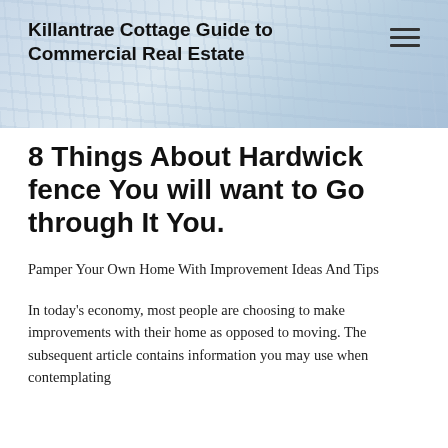Killantrae Cottage Guide to Commercial Real Estate
8 Things About Hardwick fence You will want to Go through It You.
Pamper Your Own Home With Improvement Ideas And Tips
In today's economy, most people are choosing to make improvements with their home as opposed to moving. The subsequent article contains information you may use when contemplating